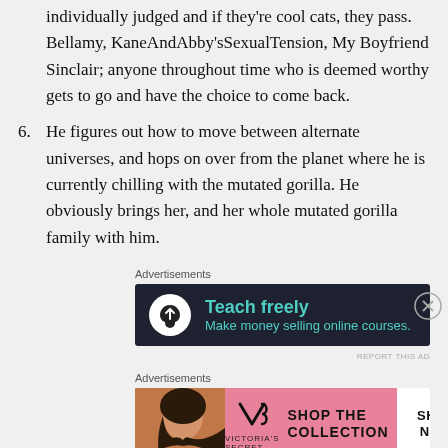individually judged and if they’re cool cats, they pass. Bellamy, KaneAndAbby’sSexualTension, My Boyfriend Sinclair; anyone throughout time who is deemed worthy gets to go and have the choice to come back.
6. He figures out how to move between alternate universes, and hops on over from the planet where he is currently chilling with the mutated gorilla. He obviously brings her, and her whole mutated gorilla family with him.
Advertisements
[Figure (other): Advertisement banner with dark background showing a tree icon in white circle, teal text reading 'Teach freely' and 'Make money selling online courses.']
REPORT THIS AD
Advertisements
[Figure (other): Victoria's Secret advertisement with pink background, woman model on left, VS logo in center, 'SHOP THE COLLECTION' text, and white 'SHOP NOW' button on right.]
REPORT THIS AD